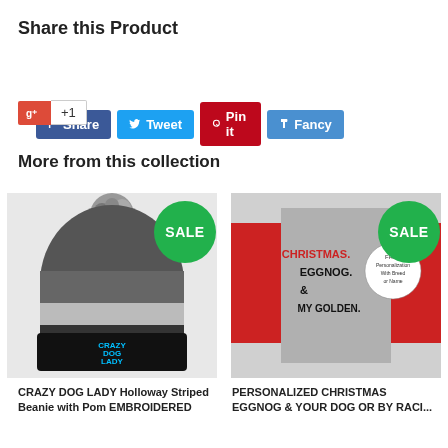Share this Product
[Figure (infographic): Social share buttons: Facebook Share, Twitter Tweet, Pinterest Pin it, Fancy; Google +1 button]
More from this collection
[Figure (photo): CRAZY DOG LADY Holloway Striped Beanie with green SALE badge]
[Figure (photo): PERSONALIZED CHRISTMAS EGGNOG & YOUR DOG shirt with green SALE badge]
CRAZY DOG LADY Holloway Striped Beanie with Pom EMBROIDERED
PERSONALIZED CHRISTMAS EGGNOG & YOUR DOG OR BY RACI...